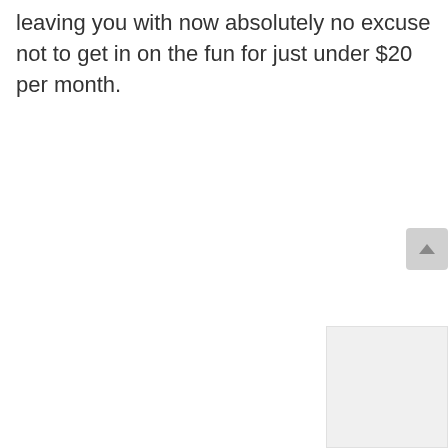leaving you with now absolutely no excuse not to get in on the fun for just under $20 per month.